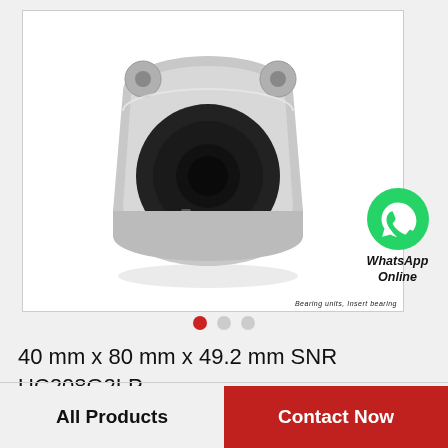[Figure (photo): SNR UC208G2LP bearing unit insert bearing, silver/grey metallic housing with dark inner bearing component, viewed from front-left angle]
[Figure (logo): WhatsApp green phone icon with text 'WhatsApp Online' in italic bold below]
40 mm x 80 mm x 49.2 mm SNR UC208G2LP Bearing units,Insert bearings
All Products
Contact Now